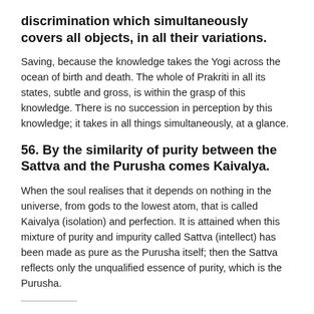discrimination which simultaneously covers all objects, in all their variations.
Saving, because the knowledge takes the Yogi across the ocean of birth and death. The whole of Prakriti in all its states, subtle and gross, is within the grasp of this knowledge. There is no succession in perception by this knowledge; it takes in all things simultaneously, at a glance.
56. By the similarity of purity between the Sattva and the Purusha comes Kaivalya.
When the soul realises that it depends on nothing in the universe, from gods to the lowest atom, that is called Kaivalya (isolation) and perfection. It is attained when this mixture of purity and impurity called Sattva (intellect) has been made as pure as the Purusha itself; then the Sattva reflects only the unqualified essence of purity, which is the Purusha.